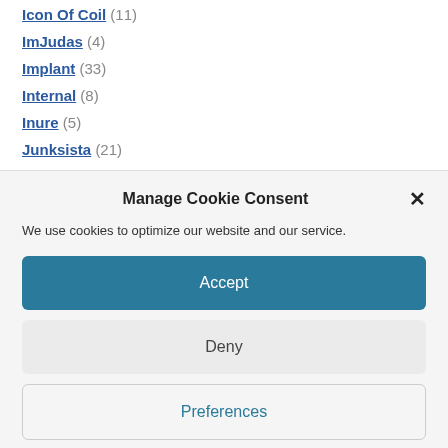Icon Of Coil (11)
ImJudas (4)
Implant (33)
Internal (8)
Inure (5)
Junksista (21)
Kant Kino (15)
Manage Cookie Consent
We use cookies to optimize our website and our service.
Accept
Deny
Preferences